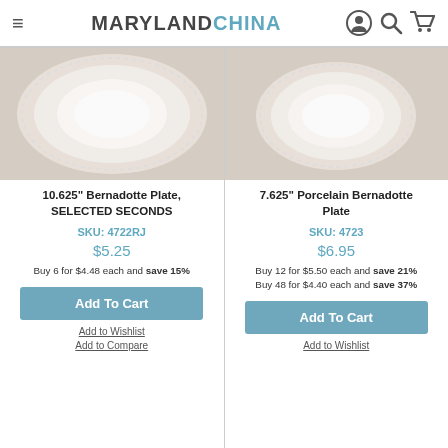MARYLAND CHINA
[Figure (photo): White ceramic plate with decorative embossed border on beige background – 10.625 inch Bernadotte plate]
[Figure (photo): White porcelain plate with decorative border on beige background – 7.625 inch Bernadotte plate]
10.625" Bernadotte Plate, SELECTED SECONDS
7.625" Porcelain Bernadotte Plate
SKU: 4722RJ
SKU: 4723
$5.25
$6.95
Buy 6 for $4.48 each and save 15%
Buy 12 for $5.50 each and save 21%
Buy 48 for $4.40 each and save 37%
Add To Cart
Add To Cart
Add to Wishlist
Add to Wishlist
Add to Compare